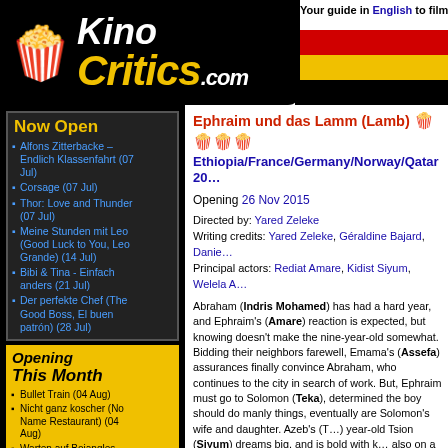[Figure (logo): KinoCritics.com logo with popcorn icon on black background, with German flag stripes on right]
Your guide in English to film
Now Open
Alfons Zitterbacke – Endlich Klassenfahrt (07 Jul)
Corsage (07 Jul)
Thor: Love and Thunder (07 Jul)
Meine Stunden mit Leo (Good Luck to You, Leo Grande) (14 Jul)
Bibi & Tina - Einfach anders (21 Jul)
Der perfekte Chef (The Good Boss, El buen patrón) (28 Jul)
Opening This Month
Bullet Train (04 Aug)
Nicht ganz koscher (No Name Restaurant) (04 Aug)
Warten auf Bojangles (Waiting for Bojangles, En attendant Bojangles) (04 Aug)
Alcarràs - Die letzte Ernte (Alcarràs) (11 Aug)
Ephraim und das Lamm (Lamb) Ethiopia/France/Germany/Norway/Qatar 2015
Opening 26 Nov 2015
Directed by: Yared Zeleke
Writing credits: Yared Zeleke, Géraldine Bajard, Danie…
Principal actors: Rediat Amare, Kidist Siyum, Welela A…
Abraham (Indris Mohamed) has had a hard year, and Ephraim's (Amare) reaction is expected, but knowing doesn't make the nine-year-old somewhat. Bidding their neighbors farewell, Emama's (Assefa) assurances finally convince Abraham, who continues to the city in search of work. But, Ephraim must go to Solomon (Teka), determined the boy should do manly things, eventually are Solomon's wife and daughter. Azeb's (T…) year-old Tsion (Siyum) dreams big, and is bold with k… also on a much deeper, more intimate level with Ephra… the looming feast day, and Solomon's absorption with… Tensions increase; in this strange, mountainous, verda… them.
Director Yared Zeleke's debut feature is part poignant… native Ethiopia, and is the country's first film to be se…